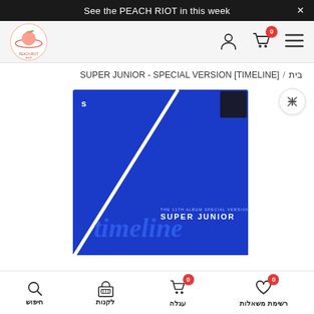See the PEACH RIOT in this week
[Figure (logo): Peach Riot shop logo - circular logo with a peach and planet/ring design]
בית / SUPER JUNIOR - SPECIAL VERSION [TIMELINE]
[Figure (photo): Super Junior Timeline special version album box - blue box with diagonal white stripe and 'timeline SUPER JUNIOR' text]
חיפוש | לקנות | עגלה 0 | רשימת משאלות 0